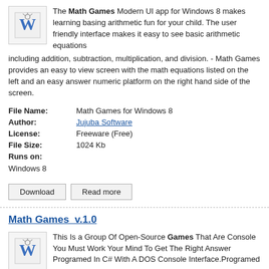The Math Games Modern UI app for Windows 8 makes learning basing arithmetic fun for your child. The user friendly interface makes it easy to see basic arithmetic equations including addition, subtraction, multiplication, and division. - Math Games provides an easy to view screen with the math equations listed on the left and an easy answer numeric platform on the right hand side of the screen.
| File Name: | Math Games for Windows 8 |
| Author: | Jujuba Software |
| License: | Freeware (Free) |
| File Size: | 1024 Kb |
| Runs on: | Windows 8 |
Download   Read more
Math Games  v.1.0
This Is a Group Of Open-Source Games That Are Console You Must Work Your Mind To Get The Right Answer Programed In C# With A DOS Console Interface.Programed In: C#Made With Microsoft Visual C# 2005 Express Edition. ...
| File Name: | Math Games |